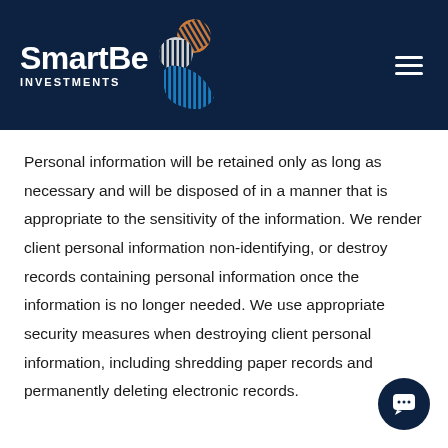[Figure (logo): SmartBe Investments logo with stylized icon and hamburger menu on dark navy background]
Personal information will be retained only as long as necessary and will be disposed of in a manner that is appropriate to the sensitivity of the information. We render client personal information non-identifying, or destroy records containing personal information once the information is no longer needed. We use appropriate security measures when destroying client personal information, including shredding paper records and permanently deleting electronic records.